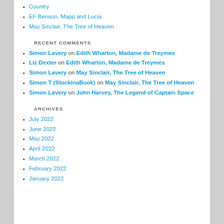Country
EF Benson, Mapp and Lucia
May Sinclair, The Tree of Heaven
RECENT COMMENTS
Simon Lavery on Edith Wharton, Madame de Treymes
Liz Dexter on Edith Wharton, Madame de Treymes
Simon Lavery on May Sinclair, The Tree of Heaven
Simon T (StuckinaBook) on May Sinclair, The Tree of Heaven
Simon Lavery on John Harvey, The Legend of Captain Space
ARCHIVES
July 2022
June 2022
May 2022
April 2022
March 2022
February 2022
January 2022